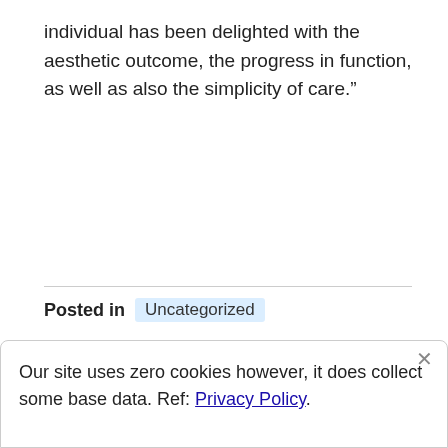individual has been delighted with the aesthetic outcome, the progress in function, as well as also the simplicity of care."
Posted in  Uncategorized
Our site uses zero cookies however, it does collect some base data. Ref: Privacy Policy.